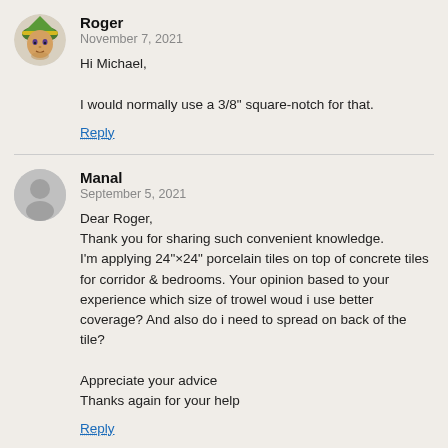[Figure (illustration): Cartoon elf avatar for user Roger]
Roger
November 7, 2021
Hi Michael,

I would normally use a 3/8" square-notch for that.
Reply
[Figure (illustration): Generic grey silhouette avatar for user Manal]
Manal
September 5, 2021
Dear Roger,
Thank you for sharing such convenient knowledge. I'm applying 24"×24" porcelain tiles on top of concrete tiles for corridor & bedrooms. Your opinion based to your experience which size of trowel woud i use better coverage? And also do i need to spread on back of the tile?

Appreciate your advice
Thanks again for your help
Reply